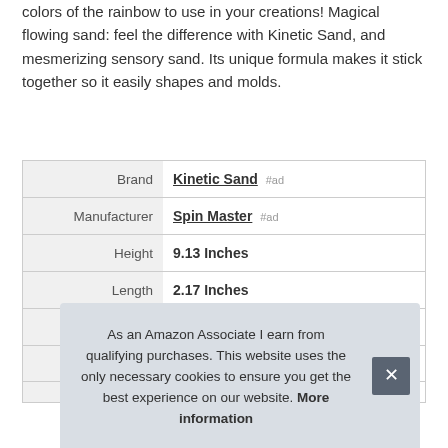colors of the rainbow to use in your creations! Magical flowing sand: feel the difference with Kinetic Sand, and mesmerizing sensory sand. Its unique formula makes it stick together so it easily shapes and molds.
|  |  |
| --- | --- |
| Brand | Kinetic Sand #ad |
| Manufacturer | Spin Master #ad |
| Height | 9.13 Inches |
| Length | 2.17 Inches |
| Width | 6.1 Inches |
| P |  |
As an Amazon Associate I earn from qualifying purchases. This website uses the only necessary cookies to ensure you get the best experience on our website. More information